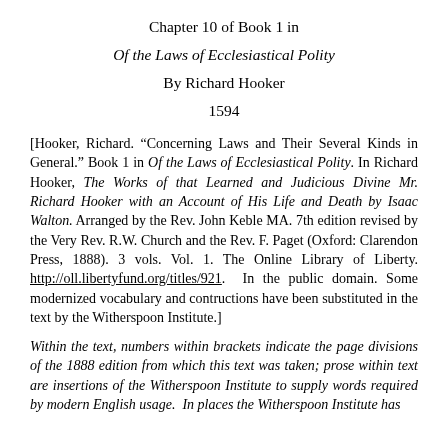Chapter 10 of Book 1 in
Of the Laws of Ecclesiastical Polity
By Richard Hooker
1594
[Hooker, Richard. “Concerning Laws and Their Several Kinds in General.” Book 1 in Of the Laws of Ecclesiastical Polity. In Richard Hooker, The Works of that Learned and Judicious Divine Mr. Richard Hooker with an Account of His Life and Death by Isaac Walton. Arranged by the Rev. John Keble MA. 7th edition revised by the Very Rev. R.W. Church and the Rev. F. Paget (Oxford: Clarendon Press, 1888). 3 vols. Vol. 1. The Online Library of Liberty. http://oll.libertyfund.org/titles/921. In the public domain. Some modernized vocabulary and contructions have been substituted in the text by the Witherspoon Institute.]
Within the text, numbers within brackets indicate the page divisions of the 1888 edition from which this text was taken; prose within text are insertions of the Witherspoon Institute to supply words required by modern English usage. In places the Witherspoon Institute has